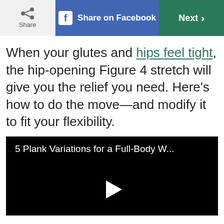Share | Share on Facebook | Next >
When your glutes and hips feel tight, the hip-opening Figure 4 stretch will give you the relief you need. Here's how to do the move—and modify it to fit your flexibility.
[Figure (screenshot): Video thumbnail with black background showing title '5 Plank Variations for a Full-Body W...' with a white play button triangle in the center]